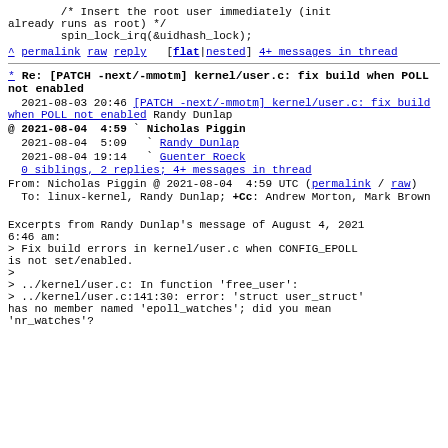/* Insert the root user immediately (init already runs as root) */
        spin_lock_irq(&uidhash_lock);
^ permalink raw reply   [flat|nested] 4+ messages in thread
* Re: [PATCH -next/-mmotm] kernel/user.c: fix build when POLL not enabled
2021-08-03 20:46 [PATCH -next/-mmotm] kernel/user.c: fix build when POLL not enabled Randy Dunlap
@ 2021-08-04  4:59 ` Nicholas Piggin
  2021-08-04  5:09   ` Randy Dunlap
  2021-08-04 19:14   ` Guenter Roeck
  0 siblings, 2 replies; 4+ messages in thread
From: Nicholas Piggin @ 2021-08-04  4:59 UTC (permalink / raw)
  To: linux-kernel, Randy Dunlap; +Cc: Andrew Morton, Mark Brown
Excerpts from Randy Dunlap's message of August 4, 2021 6:46 am:
> Fix build errors in kernel/user.c when CONFIG_EPOLL is not set/enabled.
>
> ../kernel/user.c: In function 'free_user':
> ../kernel/user.c:141:30: error: 'struct user_struct' has no member named 'epoll_watches'; did you mean 'nr_watches'?